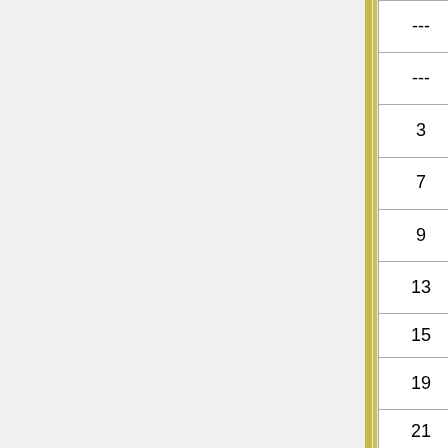| Lv | Move | Type | Category |
| --- | --- | --- | --- |
| --- | Defense Curl | Normal | Status |
| --- | Sand-Attack | Ground | Status |
| 3 | Defense Curl | Normal | Status |
| 7 | Sand-Attack | Ground | Status |
| 9 | Poison Sting | Poison | Physical |
| 13 | Rapid Spin | Normal | Physical |
| 15 | Swift | Normal | Special |
| 19 | Fury Swipes | Normal | Physical |
| 21 | Rollout | Rock | Physical |
| 22 | Crush Claw | Normal | Physical |